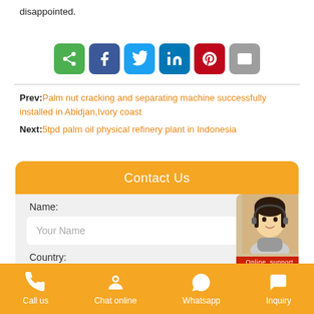disappointed.
[Figure (infographic): Social share buttons: share (green), facebook (blue), twitter (sky blue), linkedin (navy), pinterest (red), email (grey)]
Prev: Palm nut cracking and separating machine successfully installed in Abidjan,Ivory coast
Next: 5tpd palm oil physical refinery plant in Indonesia
Contact Us
Name:
Your Name
Country:
[Figure (illustration): Online support anime character with headset and Online support label]
Call us  Chat online  Whatsapp  Inquiry